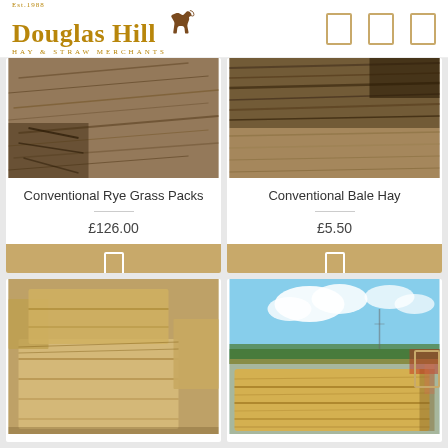[Figure (logo): Douglas Hill Hay & Straw Merchants logo with horse silhouette, Est. 1968]
[Figure (photo): Close-up photo of conventional rye grass hay bale texture]
Conventional Rye Grass Packs
£126.00
[Figure (photo): Close-up photo of conventional bale hay texture]
Conventional Bale Hay
£5.50
[Figure (photo): Photo of stacked hay bales in a yard]
[Figure (photo): Photo of a large straw bale outdoors with blue sky]